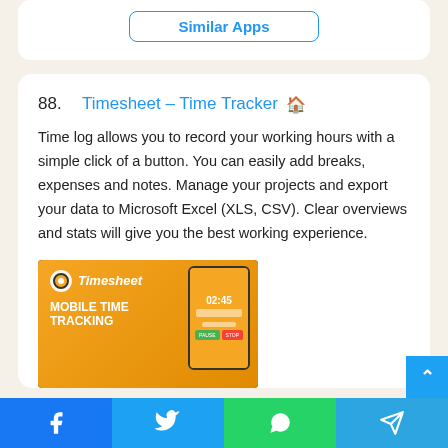Similar Apps
88. Timesheet – Time Tracker
Time log allows you to record your working hours with a simple click of a button. You can easily add breaks, expenses and notes. Manage your projects and export your data to Microsoft Excel (XLS, CSV). Clear overviews and stats will give you the best working experience.
[Figure (screenshot): Timesheet app promotional screenshot showing orange branding with 'MOBILE TIME TRACKING' text and a phone mockup displaying the timer interface with time 02:45]
Facebook · Twitter · WhatsApp · Telegram social share buttons